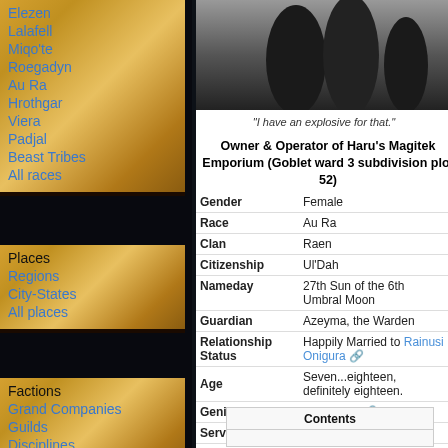[Figure (photo): Character silhouette image with dark background showing three dark figures]
"I have an explosive for that."
Owner & Operator of Haru's Magitek Emporium (Goblet ward 3 subdivision plot 52)
| Field | Value |
| --- | --- |
| Gender | Female |
| Race | Au Ra |
| Clan | Raen |
| Citizenship | Ul'Dah |
| Nameday | 27th Sun of the 6th Umbral Moon |
| Guardian | Azeyma, the Warden |
| Relationship Status | Happily Married to Rainusi Onigura |
| Age | Seven...eighteen, definitely eighteen. |
| Genius Level | Over 9000 |
| Server | Balmung |
Elezen
Lalafell
Miqo'te
Roegadyn
Au Ra
Hrothgar
Viera
Padjal
Beast Tribes
All races
Places
Regions
City-States
All places
Factions
Grand Companies
Guilds
Disciplines
All factions
Contents